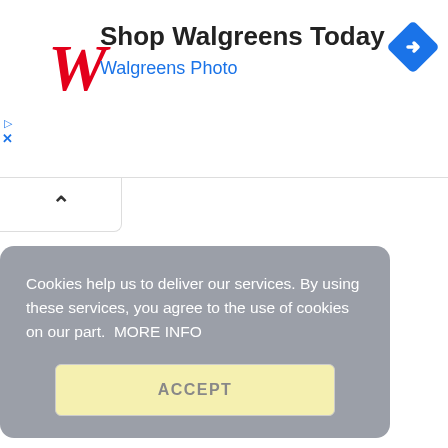[Figure (screenshot): Walgreens advertisement banner with red cursive W logo, 'Shop Walgreens Today' title, 'Walgreens Photo' subtitle in blue, and a blue diamond navigation icon on the right]
[Figure (screenshot): Collapse/chevron button UI element with upward-pointing caret]
Cookies help us to deliver our services. By using these services, you agree to the use of cookies on our part.  MORE INFO
ACCEPT